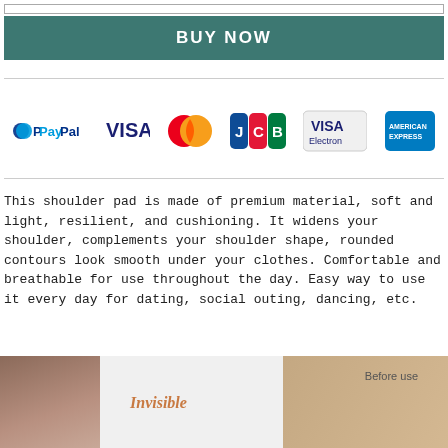[Figure (other): BUY NOW button bar with teal/dark green background and white bold text]
[Figure (other): Payment method logos: PayPal, VISA, Mastercard, JCB, VISA Electron, American Express]
This shoulder pad is made of premium material, soft and light, resilient, and cushioning. It widens your shoulder, complements your shoulder shape, rounded contours look smooth under your clothes. Comfortable and breathable for use throughout the day. Easy way to use it every day for dating, social outing, dancing, etc.
[Figure (photo): Product photo showing woman with shoulder pad, 'Invisible' text overlay in orange italic, and 'Before use' label on right side showing comparison photo]